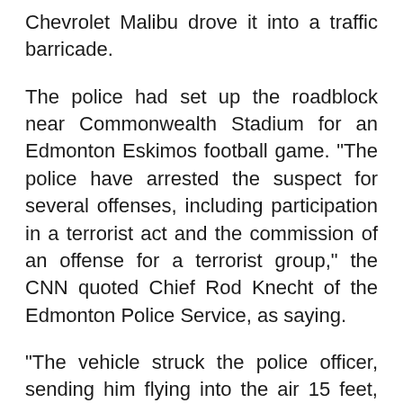Chevrolet Malibu drove it into a traffic barricade.
The police had set up the roadblock near Commonwealth Stadium for an Edmonton Eskimos football game. "The police have arrested the suspect for several offenses, including participation in a terrorist act and the commission of an offense for a terrorist group," the CNN quoted Chief Rod Knecht of the Edmonton Police Service, as saying.
"The vehicle struck the police officer, sending him flying into the air 15 feet, before colliding with the police officer's cruiser again at a high rate of speed," Knecht said.